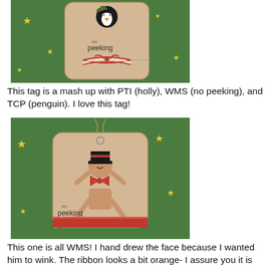[Figure (photo): A kraft paper gift tag with 'No peeking' text and a penguin stamp, tied with red and white baker's twine, on a green star-patterned wrapping paper background.]
This tag is a mash up with PTI (holly), WMS (no peeking), and TCP (penguin).  I love this tag!
[Figure (photo): A kraft paper gift tag with a gingerbread man wearing a top hat and bow tie with red glitter, 'No peeking' text, red ribbon at the bottom, tied with twine, on green star-patterned wrapping paper.]
This one is all WMS!  I hand drew the face because I wanted him to wink.  The ribbon looks a bit orange- I assure you it is red.  Thanks for coming by!  I will have some more tags for